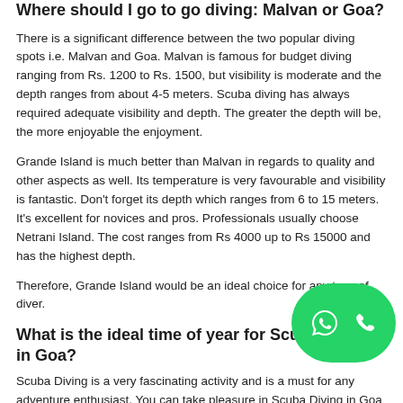Where should I go to go diving: Malvan or Goa?
There is a significant difference between the two popular diving spots i.e. Malvan and Goa. Malvan is famous for budget diving ranging from Rs. 1200 to Rs. 1500, but visibility is moderate and the depth ranges from about 4-5 meters. Scuba diving has always required adequate visibility and depth. The greater the depth will be, the more enjoyable the enjoyment.
Grande Island is much better than Malvan in regards to quality and other aspects as well. Its temperature is very favourable and visibility is fantastic. Don't forget its depth which ranges from 6 to 15 meters. It's excellent for novices and pros. Professionals usually choose Netrani Island. The cost ranges from Rs 4000 up to Rs 15000 and has the highest depth.
Therefore, Grande Island would be an ideal choice for any type of diver.
What is the ideal time of year for Scuba Diving in Goa?
Scuba Diving is a very fascinating activity and is a must for any adventure enthusiast. You can take pleasure in Scuba Diving in Goa right from mid-October to mid-May. Any season, excluding